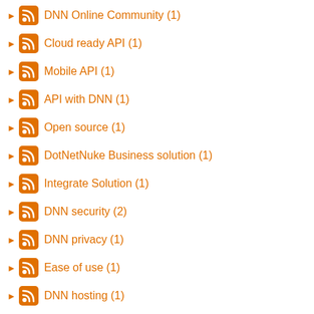DNN Online Community (1)
Cloud ready API (1)
Mobile API (1)
API with DNN (1)
Open source (1)
DotNetNuke Business solution (1)
Integrate Solution (1)
DNN security (2)
DNN privacy (1)
Ease of use (1)
DNN hosting (1)
Technical assistance (1)
MS gold certification (1)
DotNetNuke Color selection (1)
DNN mobile module (1)
Compatible module (1)
Open source management (1)
Redesigning with DNN (1)
DNN tools (1)
DNN platform (2)